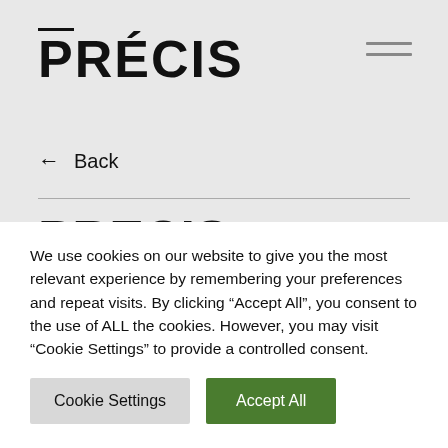PRÉCIS
← Back
PRECIS CAPITAL FEATURED IN ESTATES
We use cookies on our website to give you the most relevant experience by remembering your preferences and repeat visits. By clicking "Accept All", you consent to the use of ALL the cookies. However, you may visit "Cookie Settings" to provide a controlled consent.
Cookie Settings  Accept All